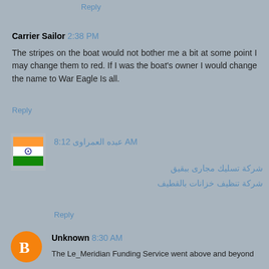Reply
Carrier Sailor  2:38 PM
The stripes on the boat would not bother me a bit at some point I may change them to red. If I was the boat's owner I would change the name to War Eagle Is all.
Reply
[Figure (illustration): Indian flag avatar icon]
عبده العمراوى  8:12 AM
شركة تسليك مجارى ببقيق
شركة تنظيف خزانات بالقطيف
Reply
[Figure (illustration): Orange circle avatar with Blogger 'B' logo]
Unknown  8:30 AM
The Le_Meridian Funding Service went above and beyond